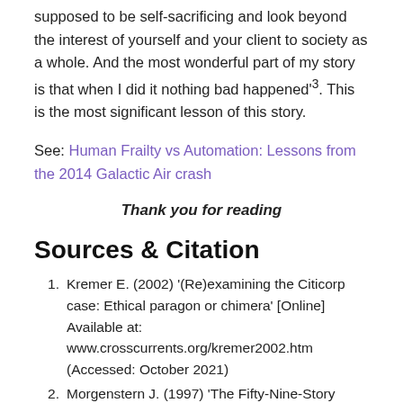supposed to be self-sacrificing and look beyond the interest of yourself and your client to society as a whole. And the most wonderful part of my story is that when I did it nothing bad happened'³. This is the most significant lesson of this story.
See: Human Frailty vs Automation: Lessons from the 2014 Galactic Air crash
Thank you for reading
Sources & Citation
Kremer E. (2002) '(Re)examining the Citicorp case: Ethical paragon or chimera' [Online] Available at: www.crosscurrents.org/kremer2002.htm (Accessed: October 2021)
Morgenstern J. (1997) 'The Fifty-Nine-Story Crisis' J